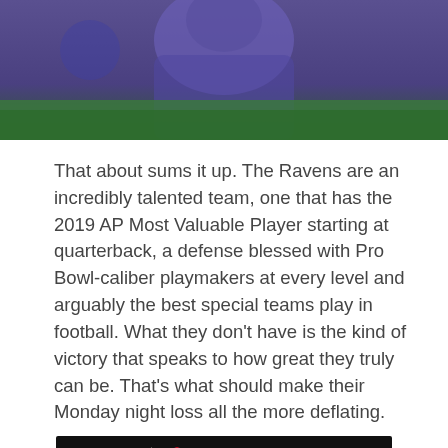[Figure (photo): Cropped photo of a Ravens football player in purple uniform, partially visible from shoulders up]
That about sums it up. The Ravens are an incredibly talented team, one that has the 2019 AP Most Valuable Player starting at quarterback, a defense blessed with Pro Bowl-caliber playmakers at every level and arguably the best special teams play in football. What they don't have is the kind of victory that speaks to how great they truly can be. That's what should make their Monday night loss all the more deflating.
[Figure (advertisement): DraftKings NFL Official Sports Betting Partner advertisement with text 'Gambling Problem?']